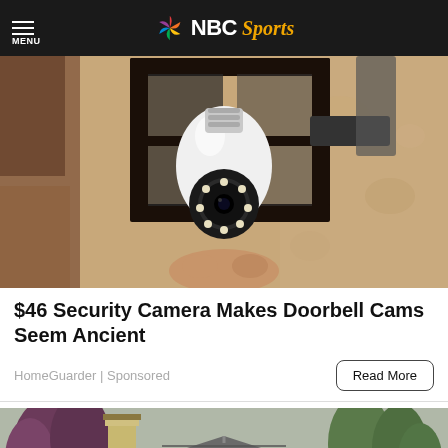MENU | NBC Sports
[Figure (photo): A security camera shaped like a light bulb installed inside an outdoor wall lantern fixture, mounted on a textured stucco wall.]
$46 Security Camera Makes Doorbell Cams Seem Ancient
HomeGuarder | Sponsored
Read More
[Figure (photo): A suburban house rooftop with shingles, a chimney, trees in the background, and other houses visible.]